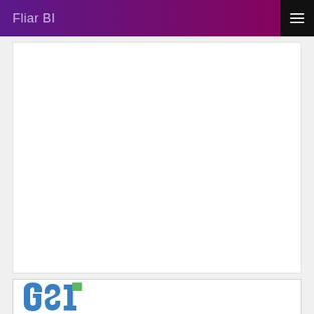Fliar BI
[Figure (other): White content card area, mostly blank]
[Figure (logo): GSI company logo with blue and green interlocking letters]